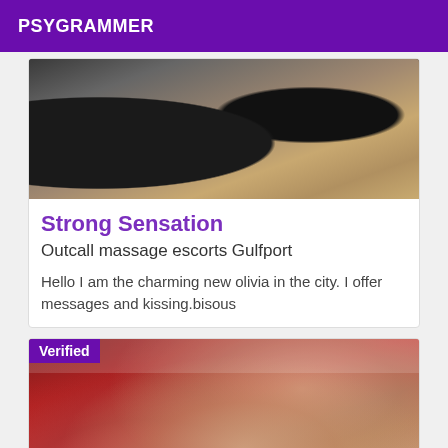PSYGRAMMER
[Figure (photo): Blurred photo showing feet/shoes on a wooden floor background]
Strong Sensation
Outcall massage escorts Gulfport
Hello I am the charming new olivia in the city. I offer messages and kissing.bisous
[Figure (photo): Blurred photo of a blonde person wearing red, with a Verified badge overlay in the top left corner]